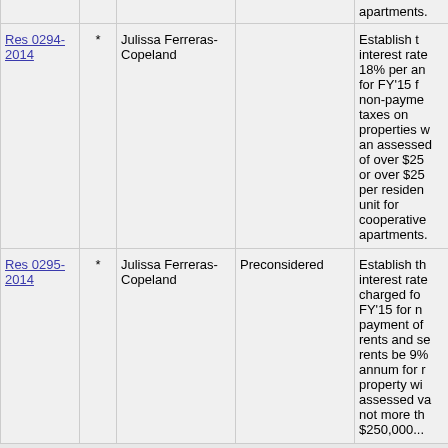| Resolution |  | Sponsor | Status | Description |
| --- | --- | --- | --- | --- |
|  |  |  |  | apartments. |
| Res 0294-2014 | * | Julissa Ferreras-Copeland |  | Establish the interest rate at 18% per annum for FY'15 for non-payment of taxes on properties with an assessed value of over $25,000 or over $25,000 per residential unit for cooperative apartments. |
| Res 0295-2014 | * | Julissa Ferreras-Copeland | Preconsidered | Establish the interest rate charged for FY'15 for non-payment of rents and service rents be 9% per annum for real property with an assessed value not more than $250,000... |